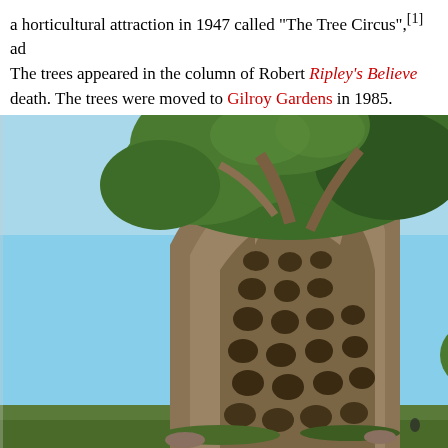a horticultural attraction in 1947 called "The Tree Circus",[1] ad... The trees appeared in the column of Robert Ripley's Believe... death. The trees were moved to Gilroy Gardens in 1985.
[Figure (photo): A large tree with a distinctive honeycomb-patterned lower trunk with circular holes, photographed against a blue sky with green foliage visible at top. The tree is at Gilroy Gardens.]